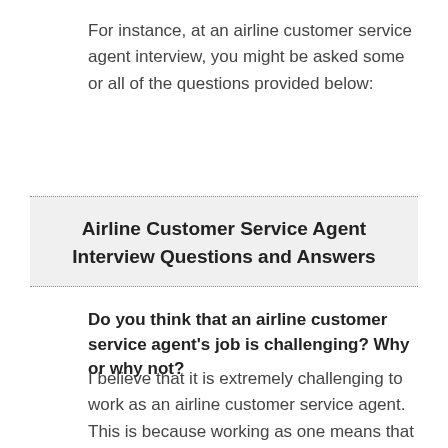For instance, at an airline customer service agent interview, you might be asked some or all of the questions provided below:
Airline Customer Service Agent Interview Questions and Answers
Do you think that an airline customer service agent's job is challenging? Why or why not?
I believe that it is extremely challenging to work as an airline customer service agent. This is because working as one means that you have to ensure passenger satisfaction from the very beginning and hold it till the very end. Airline customer service agents are the first people that passengers meet and usually become representatives of good services, so